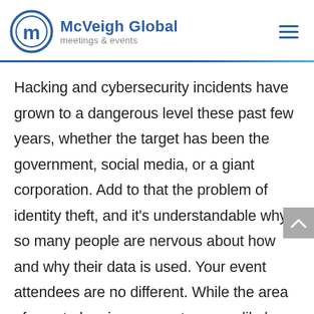[Figure (logo): McVeigh Global meetings & events logo with circular M icon in blue and company name]
Hacking and cybersecurity incidents have grown to a dangerous level these past few years, whether the target has been the government, social media, or a giant corporation. Add to that the problem of identity theft, and it's understandable why so many people are nervous about how and why their data is used. Your event attendees are no different. While the area of event planning may not seem a likely target for a data breach, it's imperative in this digital age that you plan ahead and lock in